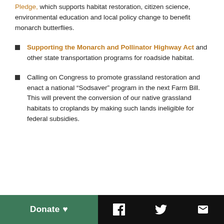Pledge, which supports habitat restoration, citizen science, environmental education and local policy change to benefit monarch butterflies.
Supporting the Monarch and Pollinator Highway Act and other state transportation programs for roadside habitat.
Calling on Congress to promote grassland restoration and enact a national “Sodsaver” program in the next Farm Bill. This will prevent the conversion of our native grassland habitats to croplands by making such lands ineligible for federal subsidies.
Donate ♥  [Facebook] [Twitter] [Email]